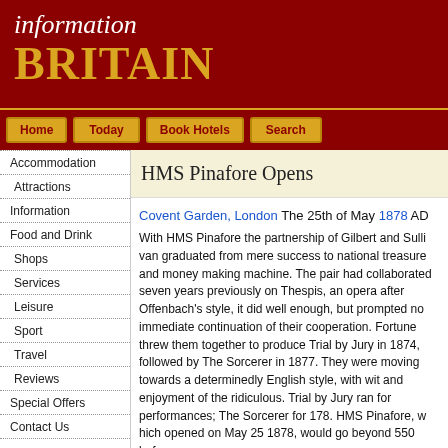information BRITAIN
Home
Today
Book Hotels
Search
Accommodation
Attractions
Information
Food and Drink
Shops
Services
Leisure
Sport
Travel
Reviews
Special Offers
Contact Us
HMS Pinafore Opens
Covent Garden, London The 25th of May 1878 AD With HMS Pinafore the partnership of Gilbert and Sullivan graduated from mere success to national treasure and money making machine. The pair had collaborated seven years previously on Thespis, an opera after Offenbach's style, it did well enough, but prompted no immediate continuation of their cooperation. Fortune threw them together to produce Trial by Jury in 1874, followed by The Sorcerer in 1877. They were moving towards a determinedly English style, with wit and enjoyment of the ridiculous. Trial by Jury ran for performances; The Sorcerer for 178. HMS Pinafore, which opened on May 25 1878, would go beyond 550 before